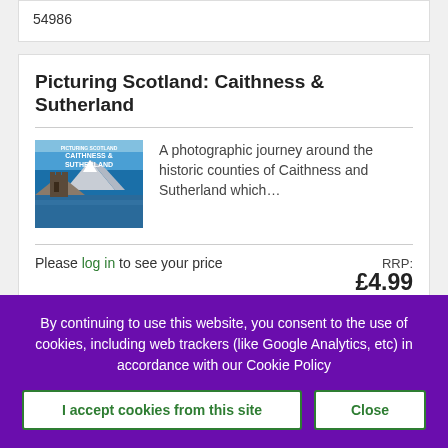54986
Picturing Scotland: Caithness & Sutherland
[Figure (photo): Book cover of Picturing Scotland: Caithness & Sutherland showing a castle ruin by a loch with snowy mountains in background]
A photographic journey around the historic counties of Caithness and Sutherland which…
Please log in to see your price
RRP: £4.99
By continuing to use this website, you consent to the use of cookies, including web trackers (like Google Analytics, etc) in accordance with our Cookie Policy
I accept cookies from this site
Close